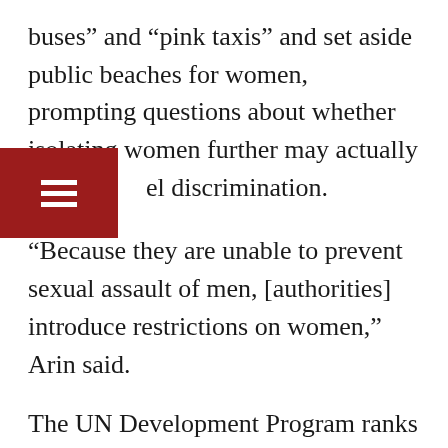buses” and “pink taxis” and set aside public beaches for women, prompting questions about whether isolating women further may actually fuel discrimination.
“Because they are unable to prevent sexual assault of men, [authorities] introduce restrictions on women,” Arin said.
The UN Development Program ranks Turkey 69th in its Gender Inequality Index and 71st in its Gender Development Index out of 188 nations. Other measurements give Turkey even poorer marks. Turkey has sunk to 131st place out of 144 countries on the World Economic Forum’s Gender Gap Index for 2017.